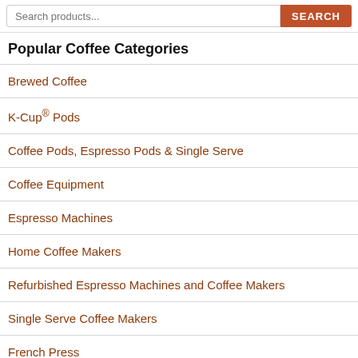Search products... [SEARCH button]
Popular Coffee Categories
Brewed Coffee
K-Cup® Pods
Coffee Pods, Espresso Pods & Single Serve
Coffee Equipment
Espresso Machines
Home Coffee Makers
Refurbished Espresso Machines and Coffee Makers
Single Serve Coffee Makers
French Press
CBD Coffee and CBD K-C...